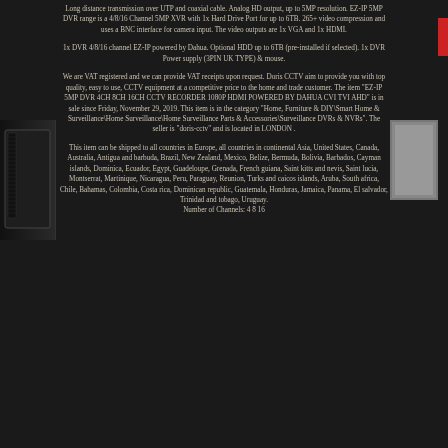Long distance transmission over UTP and coaxial cable. Analog HD output, up to 5MP resolution. EZ-IP 5MP DVR range is a 4/8/16 Channel 5MP XVR with 1x Hard Drive Port for up to 6TB. 265+ video compression and uses a BNC interface for camera input. The video outputs are 1x VGA and 1x HDMI.
1x DVR 4/8/16 channel EZ-IP powered by Dahua. Optional HDD up to 6TB (pre-installed if selected). 1x DVR Power supply (3PIN UK TYPE) & mouse.
We are VAT registered and we can provide VAT receipts upon request. Doris CCTV aim to provide you with top quality, easy to use, CCTV equipment at a competitive price to the home and trade customer. The item "EZ-IP 5MP DVR 4CH 8CH 16CH CCTV RECORDER 1080P HDMI POWERED BY DAHUA CVI TVI AHD" is in sale since Friday, November 29, 2019. This item is in the category "Home, Furniture & DIY\Smart Home & Surveillance\Home Surveillance\Home Surveillance Parts & Accessories\Surveillance DVRs & NVRs". The seller is "doris-cctv" and is located in LONDON .
This item can be shipped to all countries in Europe, all countries in continental Asia, United States, Canada, Australia, Antigua and barbuda, Brazil, New Zealand, Mexico, Belize, Bermuda, Bolivia, Barbados, Cayman islands, Dominica, Ecuador, Egypt, Guadeloupe, Grenada, French guiana, Saint kitts and nevis, Saint lucia, Montserrat, Martinique, Nicaragua, Peru, Paraguay, Reunion, Turks and caicos islands, Aruba, South africa, Chile, Bahamas, Colombia, Costa rica, Dominican republic, Guatemala, Honduras, Jamaica, Panama, El salvador, Trinidad and tobago, Uruguay. Number of Channels: 4 8 16